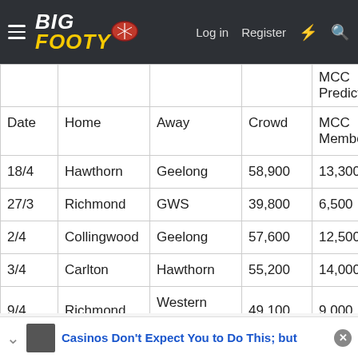BigFooty — Log in | Register
| Date | Home | Away | Crowd | MCC Members | AFL Members |
| --- | --- | --- | --- | --- | --- |
| 18/4 | Hawthorn | Geelong | 58,900 | 13,300 | 9,40... |
| 27/3 | Richmond | GWS | 39,800 | 6,500 | 7,40... |
| 2/4 | Collingwood | Geelong | 57,600 | 12,500 | 11,2... |
| 3/4 | Carlton | Hawthorn | 55,200 | 14,000 | 8,60... |
| 9/4 | Richmond | Western Bulldogs | 49,100 | 9,000 | 8,40... |
| 17/4 | Carlton | Port Adelaide | 36,200 | 7,400 | 6,70... |
Casinos Don't Expect You to Do This; but